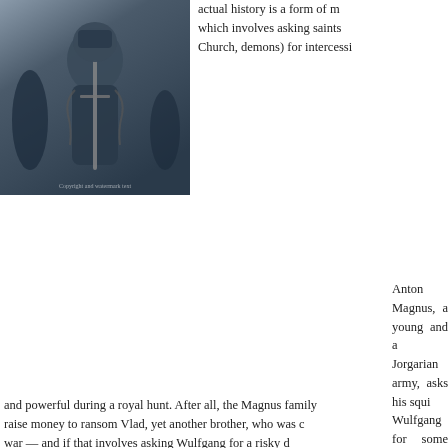[Figure (photo): Book cover showing a medieval armored knight holding a sword, dark fantasy style]
actual history is a form of magic which involves asking saints (or, in the Church, demons) for intercession
Anton Magnus, a young and ambitious Jorgarian army, asks his squire Wulfgang for some help catching and powerful during a royal hunt. After all, the Magnus family raise money to ransom Vlad, yet another brother, who was captured at war — and if that involves asking Wulfgang for a risky deal. Speaking magic...
Read More
May 24th, 2010. Stefan Raets (RETIRED)'s rating: 3 | Dave Duncan | SFF Reviews | 5 comments
Against the Light: Promising premise, slow plot
[Figure (photo): Book cover for Against the Light showing a tree design on a green background with the word AGAINST]
Against the Light by Dave Duncan